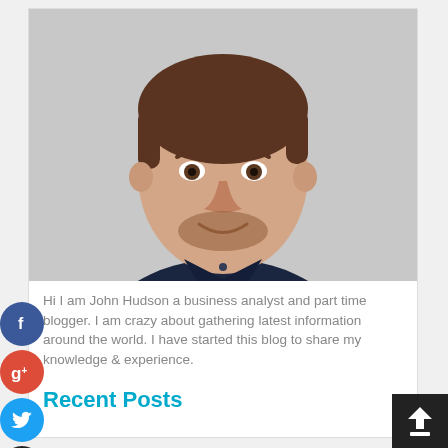[Figure (photo): Headshot photo of a man with short brown/auburn hair and beard, wearing a dark navy shirt, smiling slightly against a light gray background.]
Hi I am John Hudson a business analyst and part time blogger. I am crazy about gathering latest information around the world. I have started this blog to share my knowledge & experience.
Recent Posts